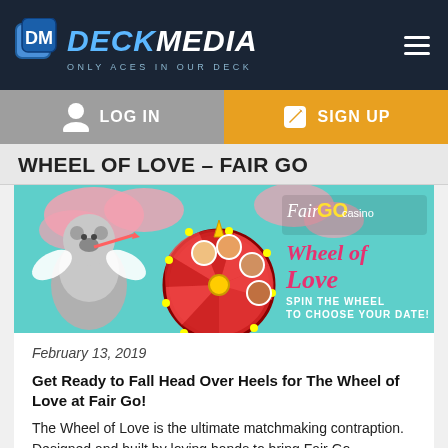[Figure (logo): Deck Media logo with dice icon, text DECK MEDIA, tagline ONLY ACES IN OUR DECK on dark navy background]
[Figure (screenshot): Navigation bar with LOG IN button (grey) and SIGN UP button (orange)]
WHEEL OF LOVE – FAIR GO
[Figure (illustration): Fair Go Casino Wheel of Love promotional banner showing animated koala with angel wings, a spinning wheel with character portraits, pink clouds, and text 'Wheel of Love - Spin the Wheel to Choose Your Date!']
February 13, 2019
Get Ready to Fall Head Over Heels for The Wheel of Love at Fair Go!
The Wheel of Love is the ultimate matchmaking contraption. Designed and built by loving hands to bring Fair Go heartthrobs and sweethearts just like you together with your ideal casino game suitor. Rather than just give you a box of